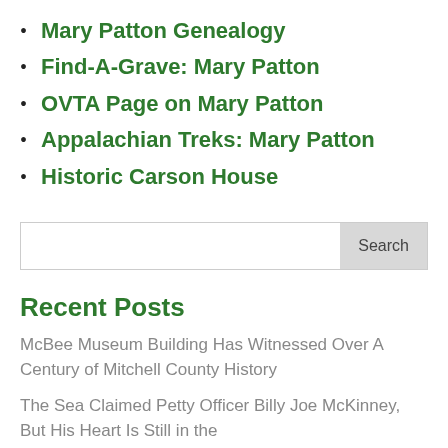Mary Patton Genealogy
Find-A-Grave: Mary Patton
OVTA Page on Mary Patton
Appalachian Treks: Mary Patton
Historic Carson House
Recent Posts
McBee Museum Building Has Witnessed Over A Century of Mitchell County History
The Sea Claimed Petty Officer Billy Joe McKinney, But His Heart Is Still in the